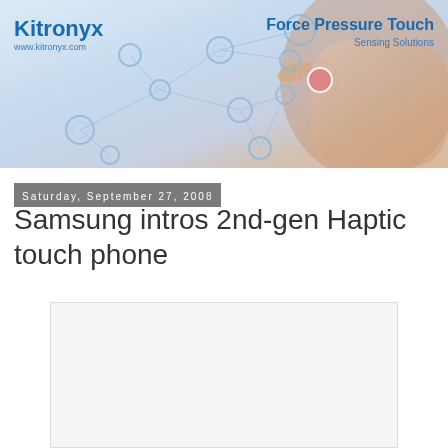[Figure (illustration): Kitronyx banner with network nodes graphic and hand touching a glowing point. Logo 'Kitronyx www.kitronyx.com' on left, 'Force Pressure Touch Sensing Solutions' on right.]
Saturday, September 27, 2008
Samsung intros 2nd-gen Haptic touch phone
[Figure (photo): Empty white/light gray image placeholder rectangle]